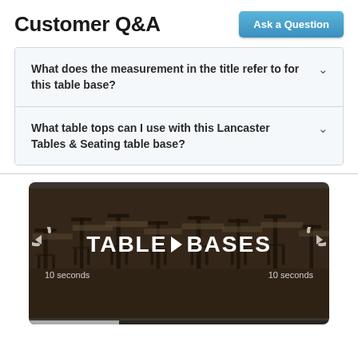Customer Q&A
What does the measurement in the title refer to for this table base?
What table tops can I use with this Lancaster Tables & Seating table base?
[Figure (screenshot): Video thumbnail showing restaurant chairs and tables in a dimly lit room with text 'TABLE BASES' overlaid, along with playback controls and 10 seconds rewind/fast-forward labels.]